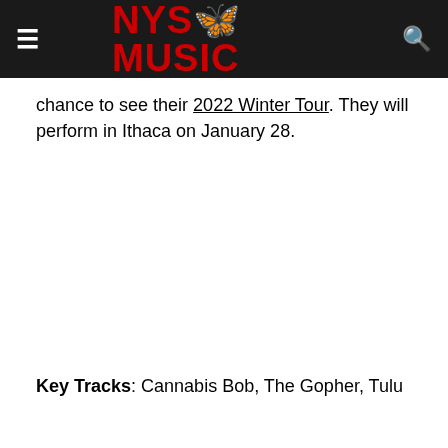NYS MUSIC
chance to see their 2022 Winter Tour. They will perform in Ithaca on January 28.
Key Tracks: Cannabis Bob, The Gopher, Tulu